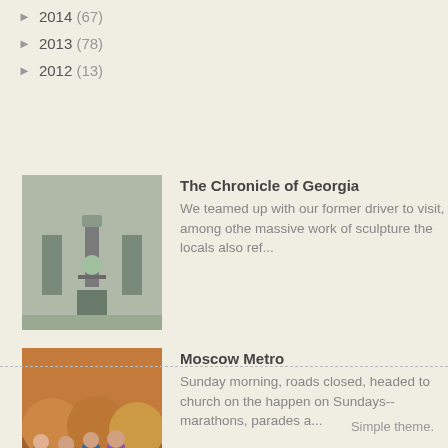► 2014 (67)
► 2013 (78)
► 2012 (13)
[Figure (photo): Photo thumbnail for The Chronicle of Georgia blog post - outdoor stone monument pathway]
The Chronicle of Georgia
We teamed up with our former driver to visit, among othe massive work of sculpture the locals also ref...
[Figure (photo): Photo thumbnail for Moscow Metro blog post - group of children sitting outdoors in autumn]
Moscow Metro
Sunday morning, roads closed, headed to church on the happen on Sundays--marathons, parades a...
Simple theme.